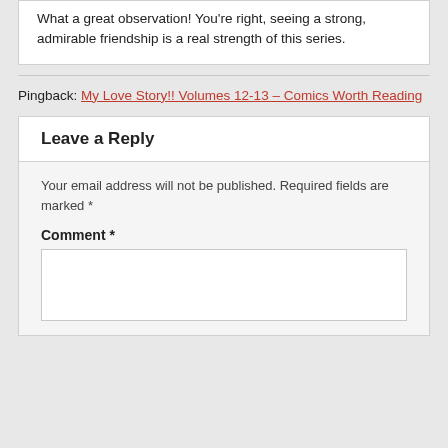What a great observation! You're right, seeing a strong, admirable friendship is a real strength of this series.
Pingback: My Love Story!! Volumes 12-13 – Comics Worth Reading
Leave a Reply
Your email address will not be published. Required fields are marked *
Comment *